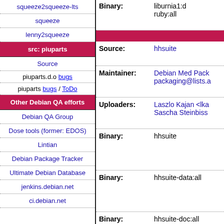squeeze2squeeze-lts
squeeze
lenny2squeeze
src: piuparts
Source
piuparts.d.o bugs
piuparts bugs / ToDo
Other Debian QA efforts
Debian QA Group
Dose tools (former: EDOS)
Lintian
Debian Package Tracker
Ultimate Debian Database
jenkins.debian.net
ci.debian.net
Binary: liburnia1:d ruby:all
Source: hhsuite
Maintainer: Debian Med Pack packaging@lists.a
Uploaders: Laszlo Kajan <lka Sascha Steinbiss
Binary: hhsuite
Binary: hhsuite-data:all
Binary: hhsuite-doc:all